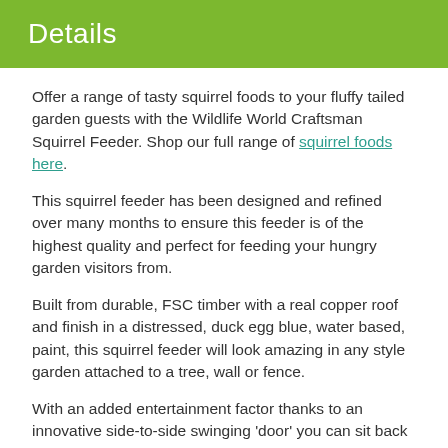Details
Offer a range of tasty squirrel foods to your fluffy tailed garden guests with the Wildlife World Craftsman Squirrel Feeder. Shop our full range of squirrel foods here.
This squirrel feeder has been designed and refined over many months to ensure this feeder is of the highest quality and perfect for feeding your hungry garden visitors from.
Built from durable, FSC timber with a real copper roof and finish in a distressed, duck egg blue, water based, paint, this squirrel feeder will look amazing in any style garden attached to a tree, wall or fence.
With an added entertainment factor thanks to an innovative side-to-side swinging 'door' you can sit back and watch as the squirrels try to access their food.